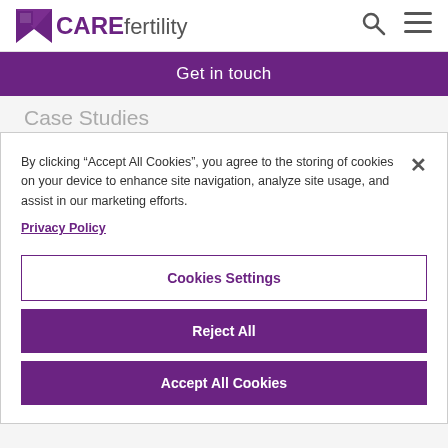CARE fertility
Get in touch
Case Studies
Embryology
Same-sex
By clicking “Accept All Cookies”, you agree to the storing of cookies on your device to enhance site navigation, analyze site usage, and assist in our marketing efforts.
Privacy Policy
Cookies Settings
Reject All
Accept All Cookies